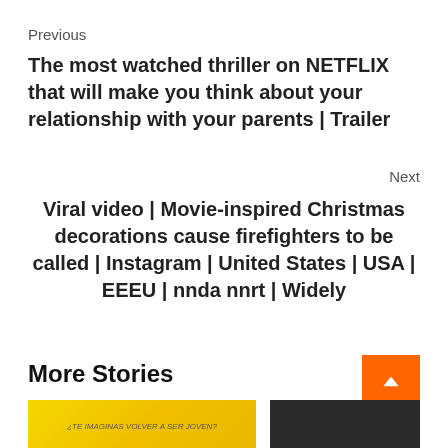Previous
The most watched thriller on NETFLIX that will make you think about your relationship with your parents | Trailer
Next
Viral video | Movie-inspired Christmas decorations cause firefighters to be called | Instagram | United States | USA | EEEU | nnda nnrt | Widely
More Stories
[Figure (photo): Yellow background image with Spanish text '¿TE IMAGINAS VOLVER A SER JOVEN?' and people]
[Figure (photo): Dark background image thumbnail]